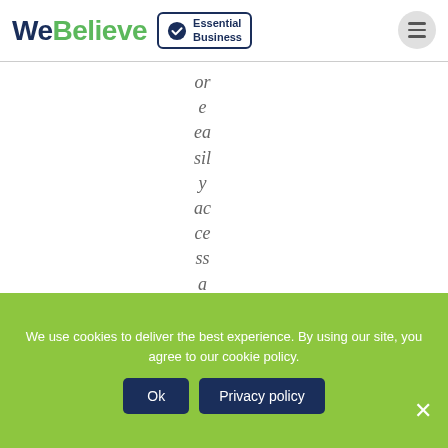We Believe — Essential Business
or e ea sil y ac ce ss a n d a n
We use cookies to deliver the best experience. By using our site, you agree to our cookie policy.
Ok   Privacy policy